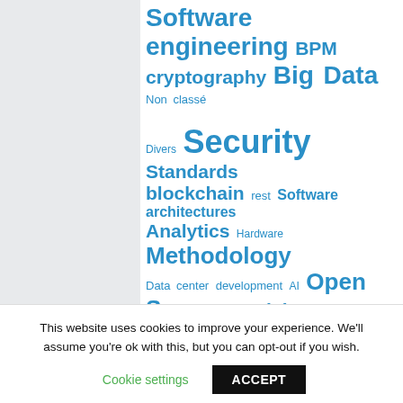[Figure (infographic): Tag cloud with various technology topic tags in blue, varying font sizes indicating frequency/importance. Tags include: Software engineering, BPM, cryptography, Big Data, Non classé, Divers, Security, Standards, blockchain, rest, Software architectures, Analytics, Hardware, Methodology, Data center, development, AI, Open Source, Social, software design, News, Privacy, Info, management, Cloud]
This website uses cookies to improve your experience. We'll assume you're ok with this, but you can opt-out if you wish.
Cookie settings   ACCEPT